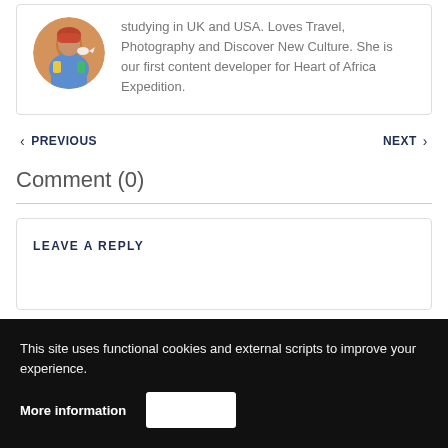[Figure (photo): Circular avatar photo of a person in traditional colorful clothing with an orange background]
studying in UK and USA. Loves Travel, Photography and Discover New Culture. She is our first content developer for Heart of Africa Expedition.
< PREVIOUS
NEXT >
Comment (0)
LEAVE A REPLY
This site uses functional cookies and external scripts to improve your experience.
More information